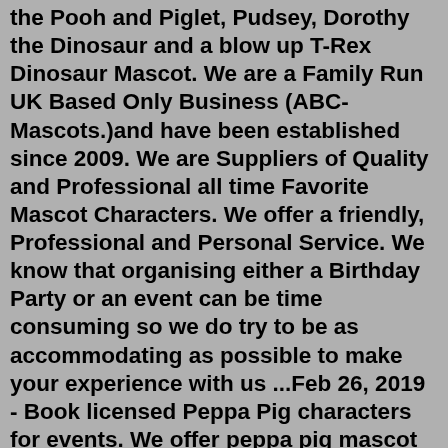the Pooh and Piglet, Pudsey, Dorothy the Dinosaur and a blow up T-Rex Dinosaur Mascot. We are a Family Run UK Based Only Business (ABC-Mascots.)and have been established since 2009. We are Suppliers of Quality and Professional all time Favorite Mascot Characters. We offer a friendly, Professional and Personal Service. We know that organising either a Birthday Party or an event can be time consuming so we do try to be as accommodating as possible to make your experience with us ...Feb 26, 2019 - Book licensed Peppa Pig characters for events. We offer peppa pig mascot costume hire & character hire suitable for events, shopping centres & more. Peter Rabbit Mascot Costume Hire. Peter Rabbit costume hire includes everything in the picture. Includes the head, body suit, gloves and shoes. Ideal for birthday surprises and fetes. If you would like to hire this costume then please contact-us or call 07583242746. We can courier all over UK mainland including Manchester, Birmingham and London ...Oct 03, 2020 · Hire Peppa Pig Character Mascot or